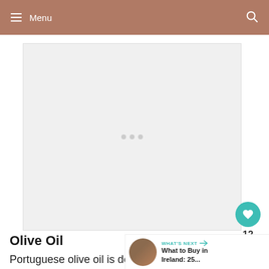Menu
[Figure (photo): Main article image placeholder showing an olive oil related photo]
Olive Oil
Portuguese olive oil is downright delicious, every bit as wonderful as
WHAT'S NEXT → What to Buy in Ireland: 25...